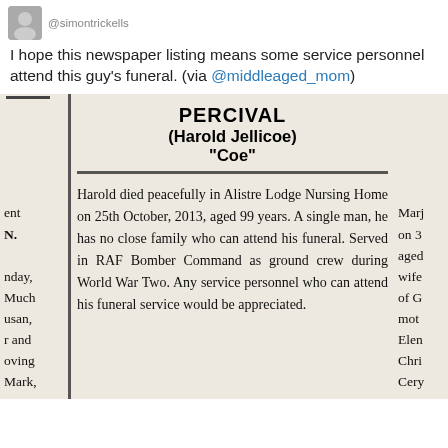[Figure (screenshot): Twitter/social media post header with avatar and username @simontrickells]
I hope this newspaper listing means some service personnel attend this guy's funeral. (via @middleaged_mom)
[Figure (photo): Newspaper obituary clipping for PERCIVAL (Harold Jellicoe) 'Coe', describing his death at Alistre Lodge Nursing Home on 25th October 2013, aged 99 years. A single man with no close family, he served in RAF Bomber Command as ground crew during World War Two. Any service personnel who can attend his funeral service would be appreciated.]